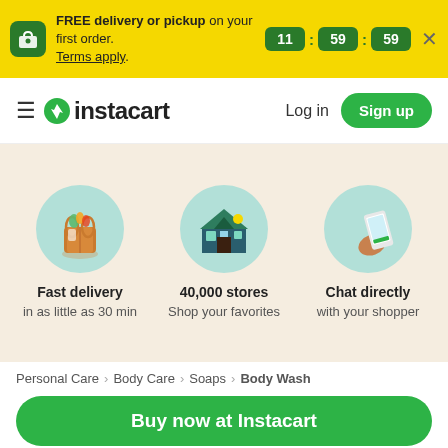FREE delivery or pickup on your first order. Terms apply. 11:59:59
instacart  Log in  Sign up
[Figure (infographic): Three feature icons: grocery bag (Fast delivery in as little as 30 min), store building (40,000 stores Shop your favorites), hand holding phone (Chat directly with your shopper)]
Fast delivery in as little as 30 min
40,000 stores Shop your favorites
Chat directly with your shopper
Personal Care > Body Care > Soaps > Body Wash
Buy now at Instacart